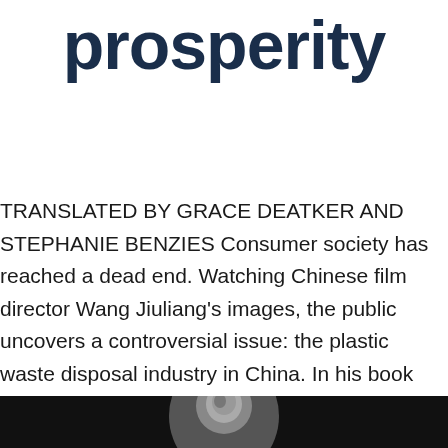prosperity
TRANSLATED BY GRACE DEATKER AND STEPHANIE BENZIES Consumer society has reached a dead end. Watching Chinese film director Wang Jiuliang's images, the public uncovers a controversial issue: the plastic waste disposal industry in China. In his book Junkyard Planet, Adam Minter describes both a controversial and lucrative world where piles of waste become colossal fortunes, [...]
READ MORE ›
[Figure (photo): Black and white photograph of a person, partially visible at the bottom of the page]